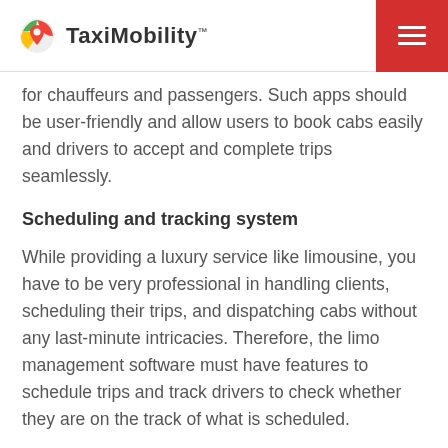TaxiMobility
for chauffeurs and passengers. Such apps should be user-friendly and allow users to book cabs easily and drivers to accept and complete trips seamlessly.
Scheduling and tracking system
While providing a luxury service like limousine, you have to be very professional in handling clients, scheduling their trips, and dispatching cabs without any last-minute intricacies. Therefore, the limo management software must have features to schedule trips and track drivers to check whether they are on the track of what is scheduled.
Check Our Affordable Pricing Plans
Fare calculation and route optimization